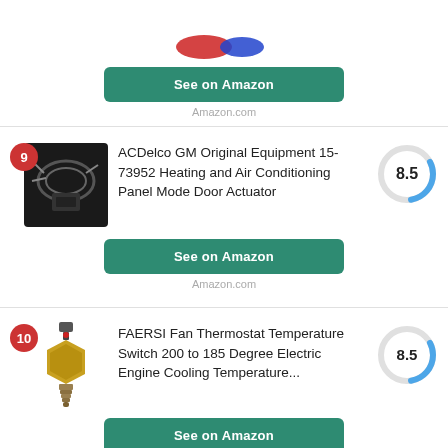[Figure (photo): Top portion of a product listing with a partial image (decorative ribbons/flags), a teal 'See on Amazon' button, and 'Amazon.com' label]
Amazon.com
[Figure (photo): ACDelco GM Original Equipment 15-73952 Heating and Air Conditioning Panel Mode Door Actuator product image - black electronic component]
ACDelco GM Original Equipment 15-73952 Heating and Air Conditioning Panel Mode Door Actuator
[Figure (donut-chart): Score circle showing 8.5 rating with blue arc on grey ring]
See on Amazon
Amazon.com
[Figure (photo): FAERSI Fan Thermostat Temperature Switch sensor - gold/brass threaded sensor component]
FAERSI Fan Thermostat Temperature Switch 200 to 185 Degree Electric Engine Cooling Temperature...
[Figure (donut-chart): Score circle showing 8.5 rating with blue arc on grey ring]
See on Amazon